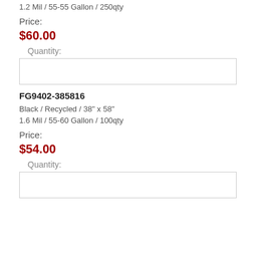1.2 Mil / 55-55 Gallon / 250qty
Price:
$60.00
Quantity:
FG9402-385816
Black / Recycled / 38" x 58"
1.6 Mil / 55-60 Gallon / 100qty
Price:
$54.00
Quantity: